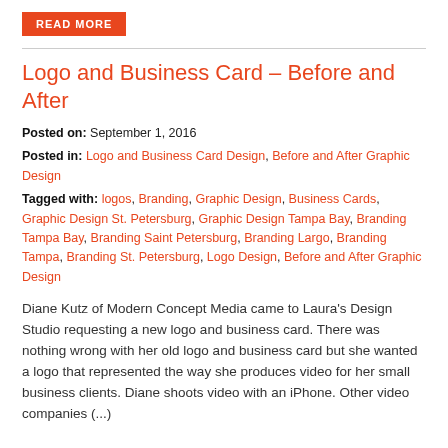[Figure (other): Orange READ MORE button]
Logo and Business Card – Before and After
Posted on: September 1, 2016
Posted in: Logo and Business Card Design, Before and After Graphic Design
Tagged with: logos, Branding, Graphic Design, Business Cards, Graphic Design St. Petersburg, Graphic Design Tampa Bay, Branding Tampa Bay, Branding Saint Petersburg, Branding Largo, Branding Tampa, Branding St. Petersburg, Logo Design, Before and After Graphic Design
Diane Kutz of Modern Concept Media came to Laura's Design Studio requesting a new logo and business card. There was nothing wrong with her old logo and business card but she wanted a logo that represented the way she produces video for her small business clients. Diane shoots video with an iPhone. Other video companies (...)